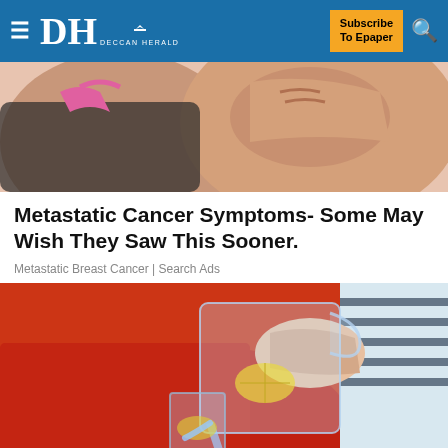DH DECCAN HERALD | Subscribe To Epaper
[Figure (photo): Woman in dark/pink sports bra clutching chest area - breast cancer awareness image]
Metastatic Cancer Symptoms- Some May Wish They Saw This Sooner.
Metastatic Breast Cancer | Search Ads
[Figure (photo): Person in red sweater pouring water with lemon from a glass pitcher into a glass]
[Figure (infographic): THE PERSPECTIVE - SEE WHAT YOU'RE MISSING - READ MORE banner advertisement]